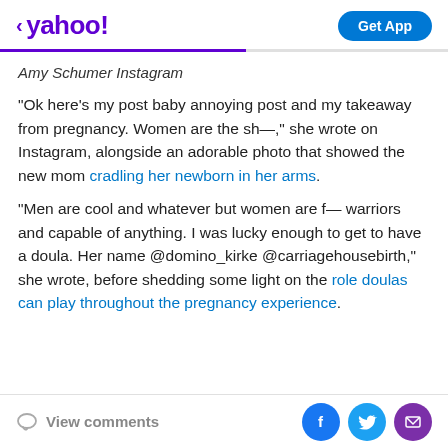< yahoo! | Get App
Amy Schumer Instagram
"Ok here's my post baby annoying post and my takeaway from pregnancy. Women are the sh—," she wrote on Instagram, alongside an adorable photo that showed the new mom cradling her newborn in her arms.
"Men are cool and whatever but women are f— warriors and capable of anything. I was lucky enough to get to have a doula. Her name @domino_kirke @carriagehousebirth," she wrote, before shedding some light on the role doulas can play throughout the pregnancy experience.
View comments